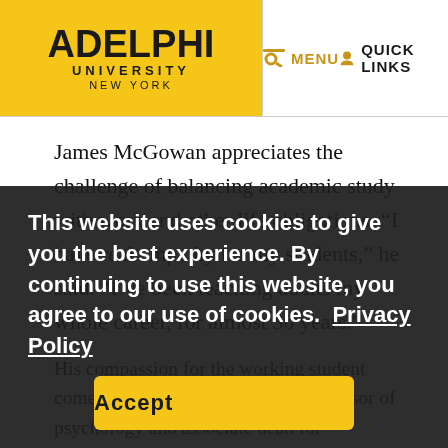ADELPHI UNIVERSITY NEW YORK | MENU | QUICK LINKS
James McGowan appreciates the challenge of balancing academic study with work and other life obligations. “I have real empathy for my students,” he said. “I’ve been teaching adults my whole career, for almost 30 years.”
His compassion for the working student comes from experience. Now a professor of psychology and associate dean for professional programs for Adelphi University, McGowan worked full time supervising ground services workers at John F. Kennedy International Airport’s British Airways terminal while pursuing his own master’s degrees in
This website uses cookies to give you the best experience. By continuing to use this website, you agree to our use of cookies.  Privacy Policy
Accept